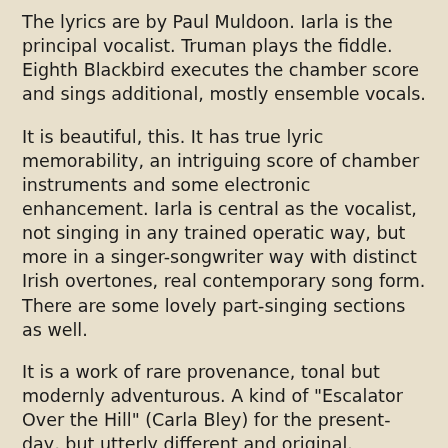The lyrics are by Paul Muldoon. Iarla is the principal vocalist. Truman plays the fiddle. Eighth Blackbird executes the chamber score and sings additional, mostly ensemble vocals.
It is beautiful, this. It has true lyric memorability, an intriguing score of chamber instruments and some electronic enhancement. Iarla is central as the vocalist, not singing in any trained operatic way, but more in a singer-songwriter way with distinct Irish overtones, real contemporary song form. There are some lovely part-singing sections as well.
It is a work of rare provenance, tonal but modernly adventurous. A kind of "Escalator Over the Hill" (Carla Bley) for the present-day, but utterly different and original.
I am taken by this music. There is ever a place for me for beauty and poetic, winsome suchness. Olagon gives you more of it than you might have a right to expect nowadays. And we are all the better for it. Hear this one if you look for endless song.